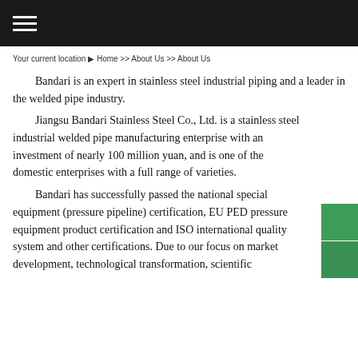≡ (hamburger menu)
Your current location ▶ Home >> About Us >> About Us
Bandari is an expert in stainless steel industrial piping and a leader in the welded pipe industry.
Jiangsu Bandari Stainless Steel Co., Ltd. is a stainless steel industrial welded pipe manufacturing enterprise with an investment of nearly 100 million yuan, and is one of the domestic enterprises with a full range of varieties.
Bandari has successfully passed the national special equipment (pressure pipeline) certification, EU PED pressure equipment product certification and ISO international quality system and other certifications. Due to our focus on market development, technological transformation, scientific